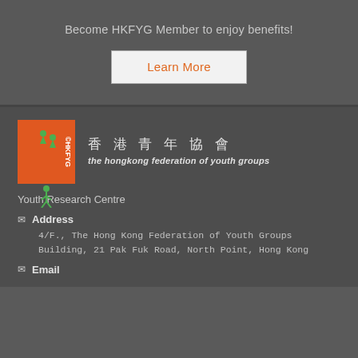Become HKFYG Member to enjoy benefits!
[Figure (other): Learn More button - orange text on white/light background with border]
[Figure (logo): HKFYG logo - orange square with HKFYG text and figures, beside Chinese text 香港青年協會 and English text 'the hongkong federation of youth groups']
Youth Research Centre
Address
4/F., The Hong Kong Federation of Youth Groups Building, 21 Pak Fuk Road, North Point, Hong Kong
Email